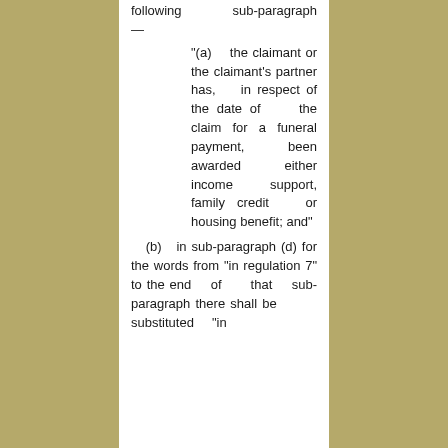following sub-paragraph—
"(a) the claimant or the claimant's partner has, in respect of the date of the claim for a funeral payment, been awarded either income support, family credit or housing benefit; and"
(b) in sub-paragraph (d) for the words from "in regulation 7" to the end of that sub-paragraph there shall be substituted "in